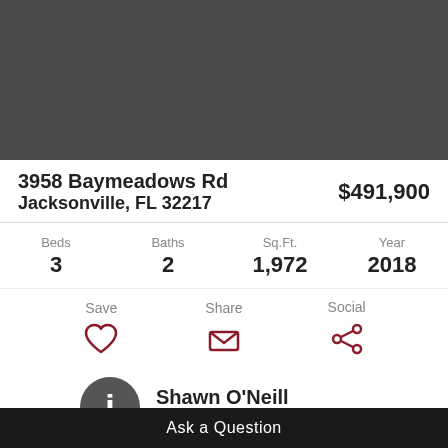[Figure (photo): Property photo area (dark gray placeholder)]
3958 Baymeadows Rd
Jacksonville, FL 32217
$491,900
| Beds | Baths | Sq.Ft. | Year |
| --- | --- | --- | --- |
| 3 | 2 | 1,972 | 2018 |
Save
Share
Social
Shawn O'Neill
(904) 370-3500
Ask a Question